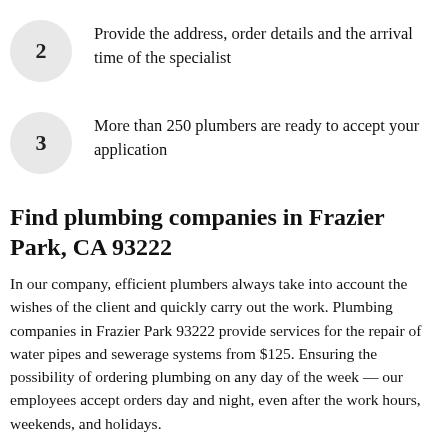2 Provide the address, order details and the arrival time of the specialist
3 More than 250 plumbers are ready to accept your application
Find plumbing companies in Frazier Park, CA 93222
In our company, efficient plumbers always take into account the wishes of the client and quickly carry out the work. Plumbing companies in Frazier Park 93222 provide services for the repair of water pipes and sewerage systems from $125. Ensuring the possibility of ordering plumbing on any day of the week — our employees accept orders day and night, even after the work hours, weekends, and holidays.